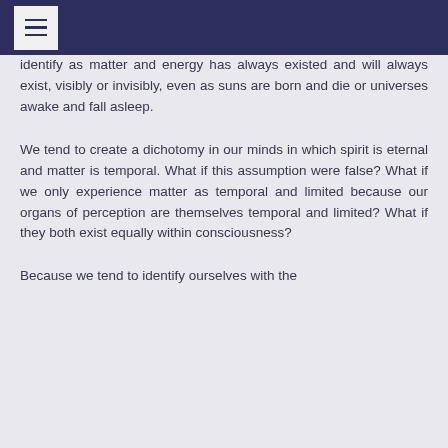identify as matter and energy has always existed and will always exist, visibly or invisibly, even as suns are born and die or universes awake and fall asleep.
We tend to create a dichotomy in our minds in which spirit is eternal and matter is temporal. What if this assumption were false? What if we only experience matter as temporal and limited because our organs of perception are themselves temporal and limited? What if they both exist equally within consciousness?
Because we tend to identify ourselves with the